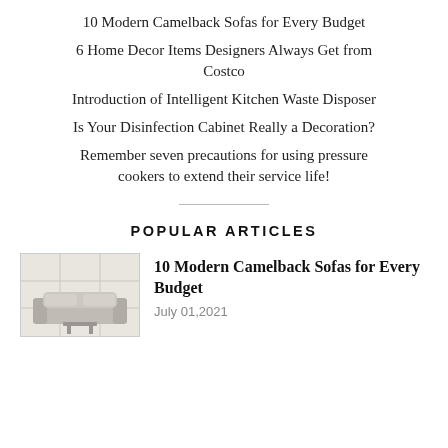10 Modern Camelback Sofas for Every Budget
6 Home Decor Items Designers Always Get from Costco
Introduction of Intelligent Kitchen Waste Disposer
Is Your Disinfection Cabinet Really a Decoration?
Remember seven precautions for using pressure cookers to extend their service life!
POPULAR ARTICLES
[Figure (photo): Thumbnail image of a modern living room with a camelback sofa]
10 Modern Camelback Sofas for Every Budget
July 01,2021